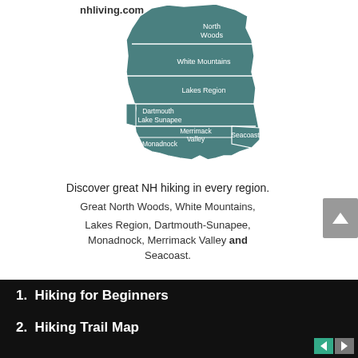[Figure (map): Map of New Hampshire regions: North Woods, White Mountains, Lakes Region, Dartmouth Lake Sunapee, Merrimack Valley, Monadnock, Seacoast. Website label: nhliving.com]
Discover great NH hiking in every region.
Great North Woods, White Mountains, Lakes Region, Dartmouth-Sunapee, Monadnock, Merrimack Valley and Seacoast.
1. Hiking for Beginners
2. Hiking Trail Map